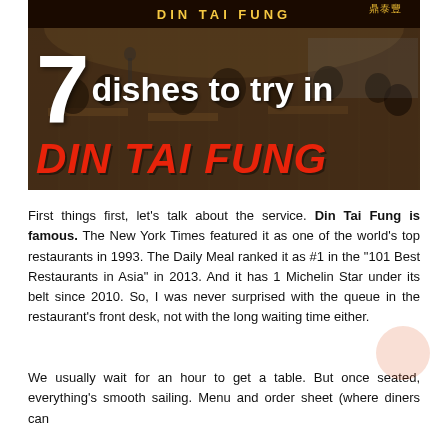[Figure (photo): Photo of Din Tai Fung restaurant interior with diners, overlaid with large text '7 dishes to try in DIN TAI FUNG'. The number 7 is in large white bold font, followed by 'dishes to try in' in white bold text, and 'DIN TAI FUNG' in large red italic bold text. The restaurant sign at the top reads 'DIN TAI FUNG' in yellow letters on a dark background.]
First things first, let's talk about the service. Din Tai Fung is famous. The New York Times featured it as one of the world's top restaurants in 1993. The Daily Meal ranked it as #1 in the "101 Best Restaurants in Asia" in 2013. And it has 1 Michelin Star under its belt since 2010. So, I was never surprised with the queue in the restaurant's front desk, not with the long waiting time either.
We usually wait for an hour to get a table. But once seated, everything's smooth sailing. Menu and order sheet (where diners can